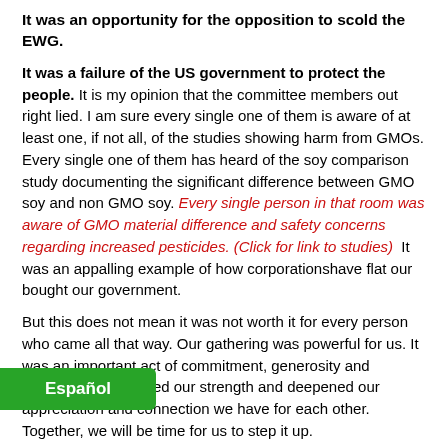It was an opportunity for the opposition to scold the EWG.
It was a failure of the US government to protect the people. It is my opinion that the committee members out right lied. I am sure every single one of them is aware of at least one, if not all, of the studies showing harm from GMOs. Every single one of them has heard of the soy comparison study documenting the significant difference between GMO soy and non GMO soy. Every single person in that room was aware of GMO material difference and safety concerns regarding increased pesticides. (Click for link to studies)  It was an appalling example of how corporationshave flat our bought our government.
But this does not mean it was not worth it for every person who came all that way. Our gathering was powerful for us. It was an important act of commitment, generosity and freedom. It galvanized our strength and deepened our appreciation and connection we have for each other. Together, we will be time for us to step it up.
n step waiting for other organization heads to
Español